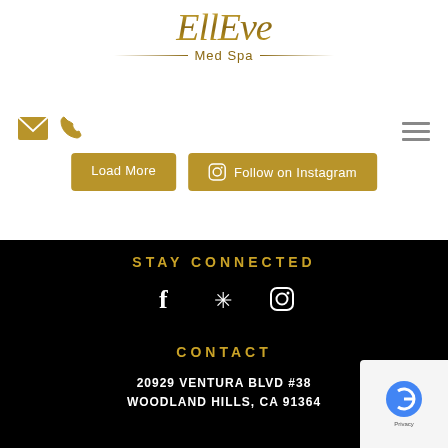[Figure (logo): EllEve Med Spa logo with gold script text and decorative lines]
[Figure (screenshot): Navigation icons: envelope and phone icons in gold, hamburger menu icon on right]
[Figure (screenshot): Two gold buttons: 'Load More' and 'Follow on Instagram' with Instagram icon]
STAY CONNECTED
[Figure (screenshot): Social media icons: Facebook (f), Yelp (*), Instagram (camera) in white on black background]
CONTACT
20929 VENTURA BLVD #38
WOODLAND HILLS, CA 91364
[Figure (screenshot): reCAPTCHA badge with Google logo and Privacy text]